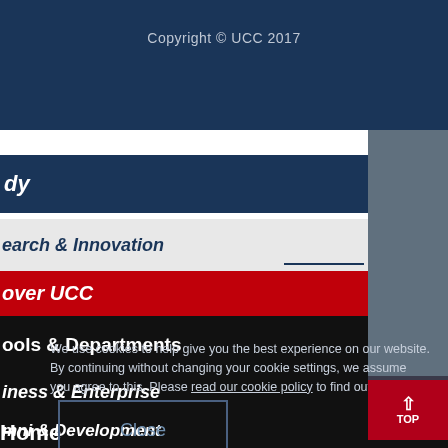Copyright © UCC 2017
dy  +
earch & Innovation  +
over UCC  +
ools & Departments  +
We use cookies to help give you the best experience on our website. By continuing without changing your cookie settings, we assume you agree to this. Please read our cookie policy to find out more.
iness & Enterprise  +
mni & Development  +
Close
Home